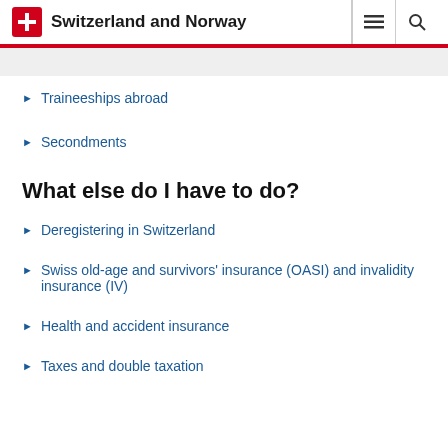Switzerland and Norway
Traineeships abroad
Secondments
What else do I have to do?
Deregistering in Switzerland
Swiss old-age and survivors' insurance (OASI) and invalidity insurance (IV)
Health and accident insurance
Taxes and double taxation